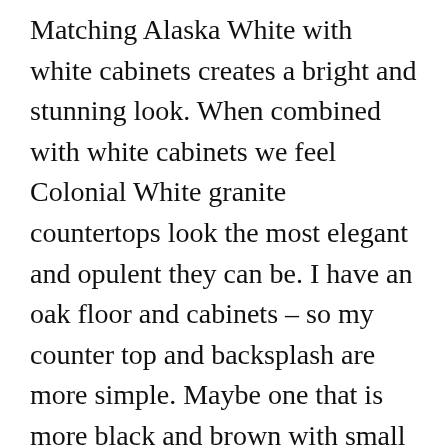Matching Alaska White with white cabinets creates a bright and stunning look. When combined with white cabinets we feel Colonial White granite countertops look the most elegant and opulent they can be. I have an oak floor and cabinets – so my counter top and backsplash are more simple. Maybe one that is more black and brown with small specs of white.
This site is an open community for users to share their favorite wallpapers on the